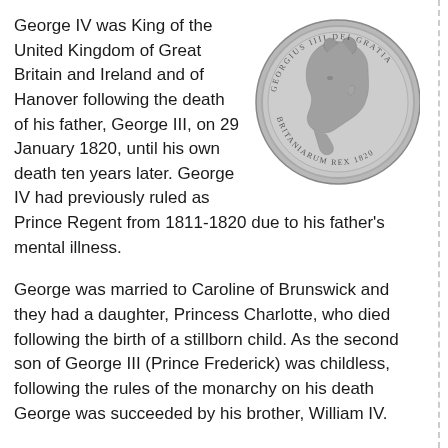George IV was King of the United Kingdom of Great Britain and Ireland and of Hanover following the death of his father, George III, on 29 January 1820, until his own death ten years later. George IV had previously ruled as Prince Regent from 1811-1820 due to his father's mental illness.
[Figure (photo): Silver coin showing profile of George IV facing left with laurel wreath, inscriptions around the rim]
George was married to Caroline of Brunswick and they had a daughter, Princess Charlotte, who died following the birth of a stillborn child. As the second son of George III (Prince Frederick) was childless, following the rules of the monarchy on his death George was succeeded by his brother, William IV.
Note that on coin, George IV is often written as Georgivs IIII.